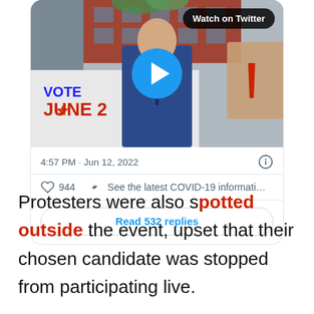[Figure (screenshot): Embedded tweet card showing a video thumbnail of a man in a blue suit standing in front of a vehicle with 'VOTE JUNE 28' text. Tweet timestamp: 4:57 PM · Jun 12, 2022. 944 likes. 'See the latest COVID-19 informati...' Read 532 replies button.]
Protesters were also spotted outside the event, upset that their chosen candidate was stopped from participating live.